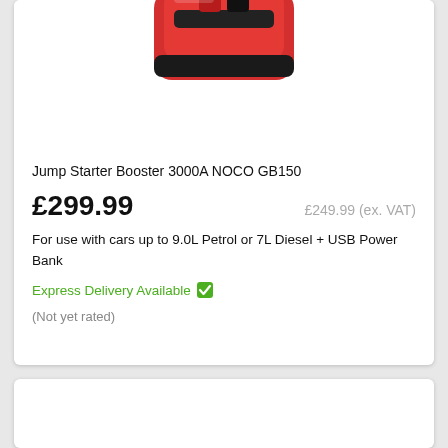[Figure (photo): Product image of NOCO GB150 Jump Starter Booster 3000A, showing red and black device, partially cropped at top of card]
Jump Starter Booster 3000A NOCO GB150
£299.99   £249.99 (ex. VAT)
For use with cars up to 9.0L Petrol or 7L Diesel + USB Power Bank
Express Delivery Available ✔
(Not yet rated)